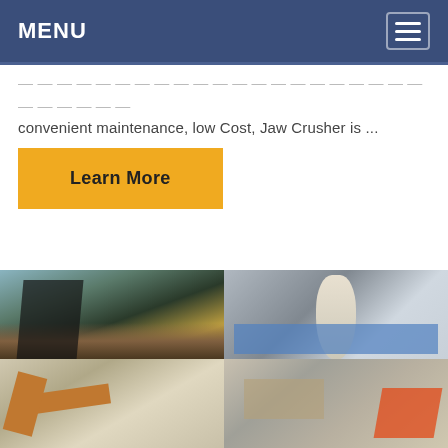MENU
convenient maintenance, low Cost, Jaw Crusher is ...
Learn More
[Figure (photo): Outdoor mining/crushing plant with conveyor belts and steel structures, trees in background]
[Figure (photo): Indoor industrial facility with large white cyclone separator and grinding mill equipment]
[Figure (photo): Construction or mining site with orange crane/conveyor structures]
[Figure (photo): Mining site with orange/red equipment and piles of material]